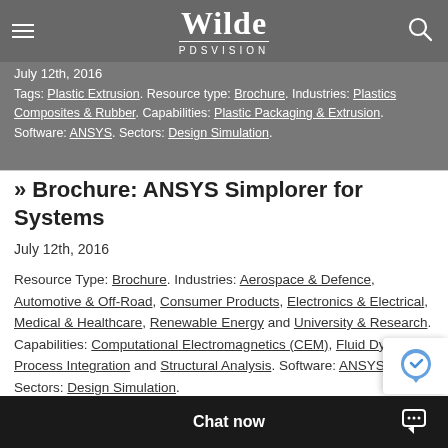Wilde PDSVISION
July 12th, 2016
Tags: Plastic Extrusion. Resource Type: Brochure. Industries: Plastics Composites & Rubber. Capabilities: Plastic Packaging & Extrusion. Software: ANSYS. Sectors: Design Simulation.
» Brochure: ANSYS Simplorer for Systems
July 12th, 2016
Resource Type: Brochure. Industries: Aerospace & Defence, Automotive & Off-Road, Consumer Products, Electronics & Electrical, Medical & Healthcare, Renewable Energy and University & Research. Capabilities: Computational Electromagnetics (CEM), Fluid Dynamics, Process Integration and Structural Analysis. Software: ANSYS. Sectors: Design Simulation.